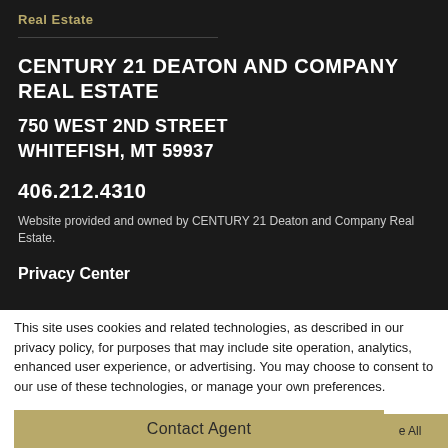Real Estate
CENTURY 21 DEATON AND COMPANY REAL ESTATE
750 WEST 2ND STREET
WHITEFISH, MT 59937
406.212.4310
Website provided and owned by CENTURY 21 Deaton and Company Real Estate.
Privacy Center
This site uses cookies and related technologies, as described in our privacy policy, for purposes that may include site operation, analytics, enhanced user experience, or advertising. You may choose to consent to our use of these technologies, or manage your own preferences.
Contact Agent